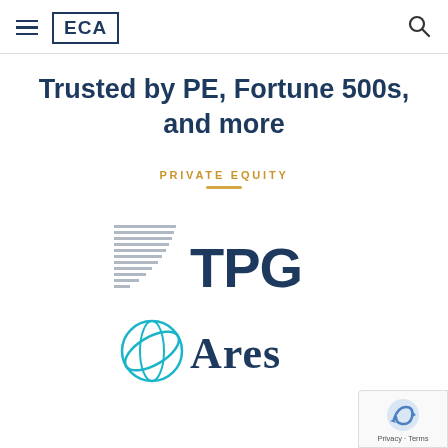ECA
Trusted by PE, Fortune 500s, and more
PRIVATE EQUITY
[Figure (logo): TPG private equity firm logo with stylized horizontal lines graphic and TPG text in dark navy blue]
[Figure (logo): Ares Management logo with teal orbital ring graphic and Ares text in dark navy blue]